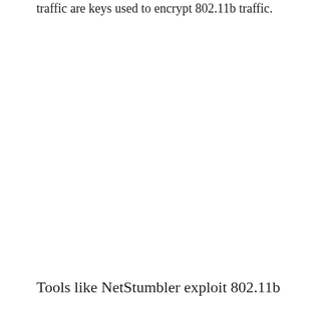traffic are keys used to encrypt 802.11b traffic.
Tools like NetStumbler exploit 802.11b